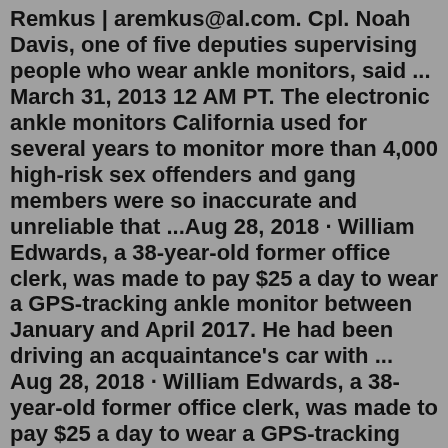Remkus | aremkus@al.com. Cpl. Noah Davis, one of five deputies supervising people who wear ankle monitors, said ... March 31, 2013 12 AM PT. The electronic ankle monitors California used for several years to monitor more than 4,000 high-risk sex offenders and gang members were so inaccurate and unreliable that ...Aug 28, 2018 · William Edwards, a 38-year-old former office clerk, was made to pay $25 a day to wear a GPS-tracking ankle monitor between January and April 2017. He had been driving an acquaintance's car with ... Aug 28, 2018 · William Edwards, a 38-year-old former office clerk, was made to pay $25 a day to wear a GPS-tracking ankle monitor between January and April 2017. He had been driving an acquaintance's car with ... Hays County is trying out a new plan to deal with its overcrowded jail. That plan includes allowing judges to release inmates before trial and gives them an ankle monitor to wear to keep tabs on th…Middleton was required to wear an ankle monitor as conditions of his release, but the Sheriff said the monitor stopped